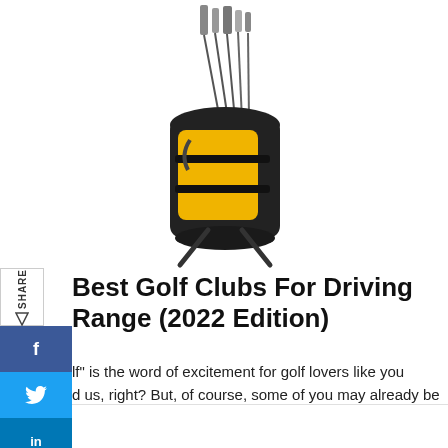[Figure (photo): Yellow and black golf bag with clubs on a stand, viewed from an angle against a white background]
Best Golf Clubs For Driving Range (2022 Edition)
lf" is the word of excitement for golf lovers like you d us, right? But, of course, some of you may already be olfer like us, and some may be thinking of starting fing. No matter our levels, we all must continue cticing to become the best of the best golfers. And for t [...]
[Figure (logo): Mix social sharing logo - orange M on white background]